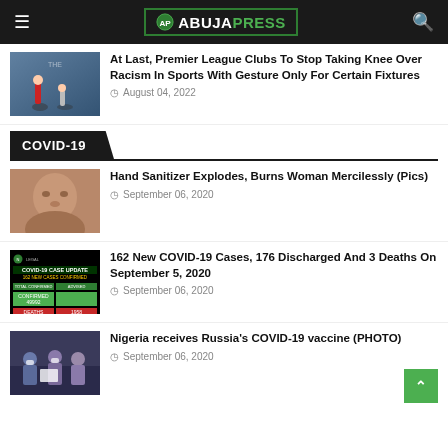ABUJAPRESS
At Last, Premier League Clubs To Stop Taking Knee Over Racism In Sports With Gesture Only For Certain Fixtures — August 04, 2022
COVID-19
Hand Sanitizer Explodes, Burns Woman Mercilessly (Pics) — September 06, 2020
162 New COVID-19 Cases, 176 Discharged And 3 Deaths On September 5, 2020 — September 06, 2020
Nigeria receives Russia's COVID-19 vaccine (PHOTO) — September 06, 2020